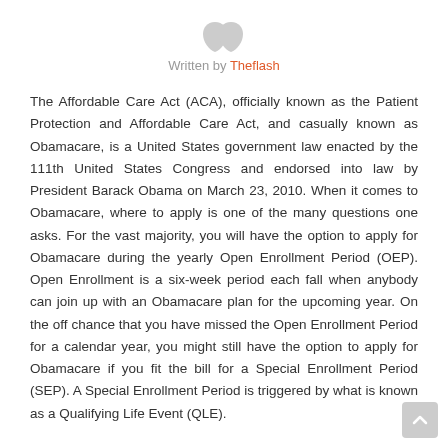[Figure (other): Avatar/profile icon — two overlapping grey teardrop/person silhouette shapes pointing downward]
Written by Theflash
The Affordable Care Act (ACA), officially known as the Patient Protection and Affordable Care Act, and casually known as Obamacare, is a United States government law enacted by the 111th United States Congress and endorsed into law by President Barack Obama on March 23, 2010. When it comes to Obamacare, where to apply is one of the many questions one asks. For the vast majority, you will have the option to apply for Obamacare during the yearly Open Enrollment Period (OEP). Open Enrollment is a six-week period each fall when anybody can join up with an Obamacare plan for the upcoming year. On the off chance that you have missed the Open Enrollment Period for a calendar year, you might still have the option to apply for Obamacare if you fit the bill for a Special Enrollment Period (SEP). A Special Enrollment Period is triggered by what is known as a Qualifying Life Event (QLE).